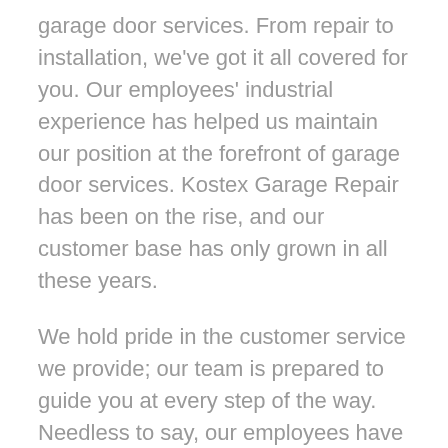garage door services. From repair to installation, we've got it all covered for you. Our employees' industrial experience has helped us maintain our position at the forefront of garage door services. Kostex Garage Repair has been on the rise, and our customer base has only grown in all these years.
We hold pride in the customer service we provide; our team is prepared to guide you at every step of the way. Needless to say, our employees have been our greatest strength in this business, and we believe they will continue to be so.
GARAGE DOOR REPAIR